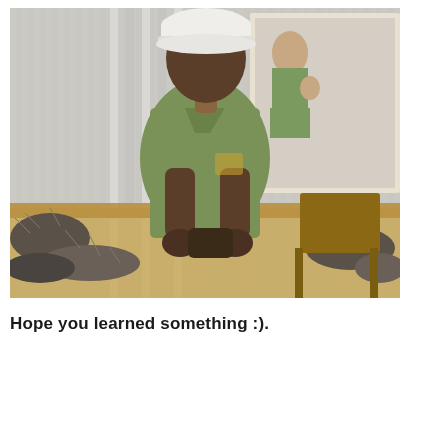[Figure (photo): A man wearing a white cap and olive green shirt works at a workbench handling what appear to be emu feathers or similar animal products. Behind him is a corrugated metal wall and a poster/photo showing another person in a similar setting. Various brushy/feathery items are spread on the workbench.]
Hope you learned something :).